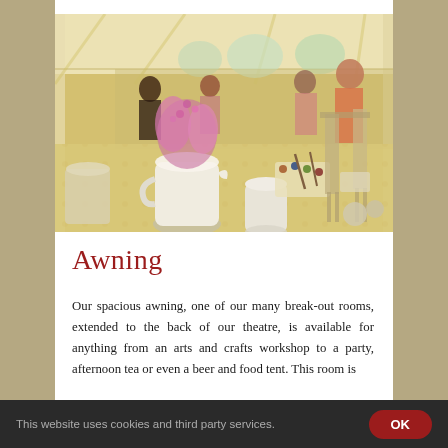[Figure (photo): Interior of a large white marquee or awning tent with people around long tables set for an arts and crafts workshop. Foreground shows white ceramic jugs, pink hyacinth flowers, watercolor palettes, and art supplies on tables. Background shows people standing and seated, with easels and large windows letting in natural light.]
Awning
Our spacious awning, one of our many break-out rooms, extended to the back of our theatre, is available for anything from an arts and crafts workshop to a party, afternoon tea or even a beer and food tent. This room is
This website uses cookies and third party services.  OK